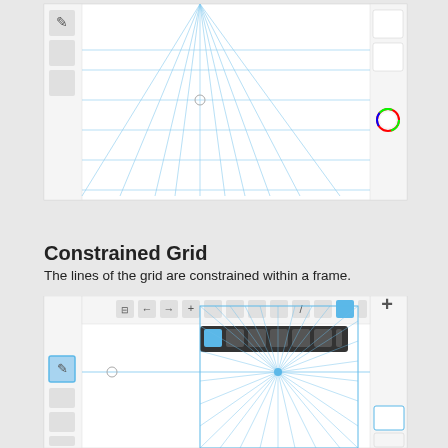[Figure (screenshot): Screenshot of a drawing application showing a perspective grid (radiating lines from a vanishing point) in the canvas area, with left toolbar showing brush/tool icons, and right panel with layer/color controls.]
Constrained Grid
The lines of the grid are constrained within a frame.
[Figure (screenshot): Screenshot of a drawing application showing a constrained perspective grid — radiating lines from a central vanishing point contained within a rectangular frame in the canvas. Top toolbar visible with grid tool selected (highlighted in blue). Left panel shows brush tool icons, right panel shows layer panel.]